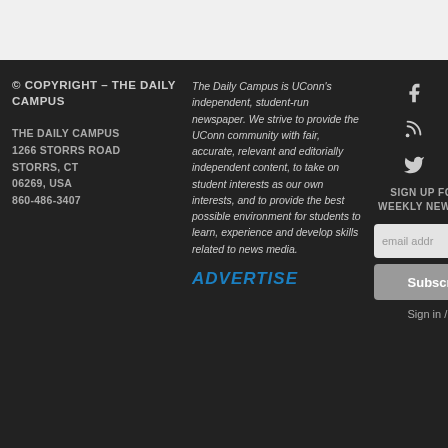© COPYRIGHT - THE DAILY CAMPUS
THE DAILY CAMPUS
1266 STORRS ROAD
STORRS, CT
06269, USA
860-486-3407
The Daily Campus is UConn's independent, student-run newspaper. We strive to provide the UConn community with fair, accurate, relevant and editorially independent content, to take on student interests as our own interests, and to provide the best possible environment for students to learn, experience and develop skills related to news media.
ADVERTISE
[Figure (infographic): Social media icons: Facebook, Instagram, RSS feed, Spotify, Twitter, YouTube]
SIGN UP FOR OUR WEEKLY NEWSLETTER
email address input field
Subscribe
Sign in / Join